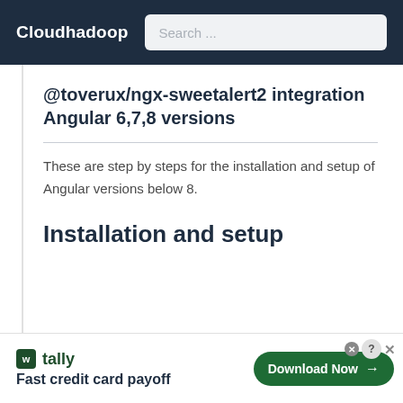Cloudhadoop | Search ...
@toverux/ngx-sweetalert2 integration Angular 6,7,8 versions
These are step by steps for the installation and setup of Angular versions below 8.
Installation and setup
[Figure (other): Tally app advertisement banner with logo, tagline 'Fast credit card payoff', and 'Download Now' button]